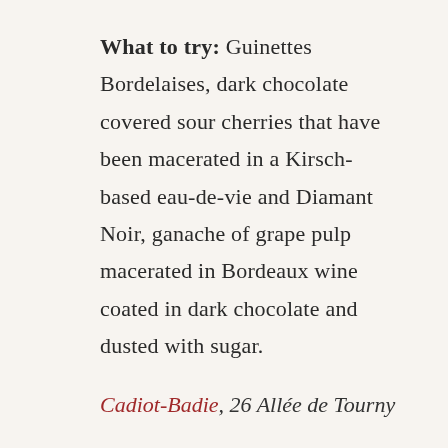What to try: Guinettes Bordelaises, dark chocolate covered sour cherries that have been macerated in a Kirsch-based eau-de-vie and Diamant Noir, ganache of grape pulp macerated in Bordeaux wine coated in dark chocolate and dusted with sugar.
Cadiot-Badie, 26 Allée de Tourny